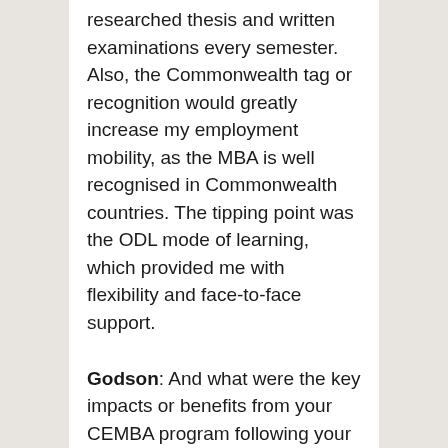researched thesis and written examinations every semester. Also, the Commonwealth tag or recognition would greatly increase my employment mobility, as the MBA is well recognised in Commonwealth countries. The tipping point was the ODL mode of learning, which provided me with flexibility and face-to-face support.
Godson: And what were the key impacts or benefits from your CEMBA program following your graduation?
Raymond: I am proud to say that even before the final CEMBA semester, I was hired as the branch manager of a